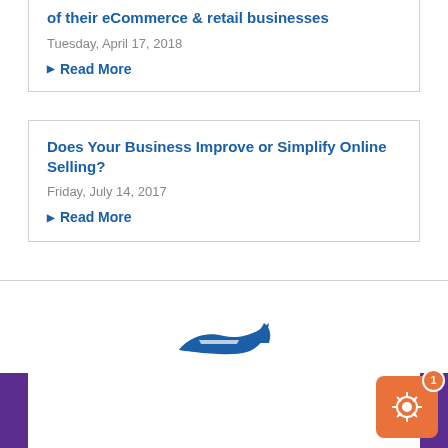of their eCommerce & retail businesses
Tuesday, April 17, 2018
Read More
Does Your Business Improve or Simplify Online Selling?
Friday, July 14, 2017
Read More
[Figure (logo): USPS eagle logo in blue]
[Figure (illustration): Orange notification button with star/burst icon and badge showing '1']